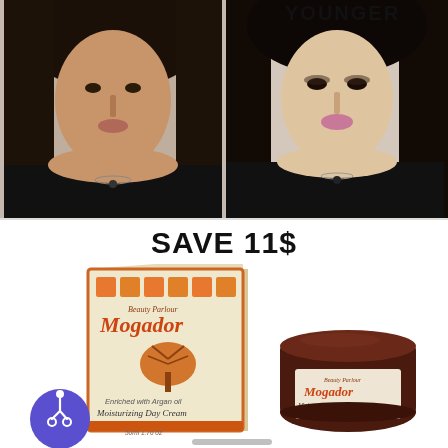[Figure (photo): Before and after comparison photo showing two women side by side. Left woman appears without makeup (before), right woman appears with makeup and glowing skin (after). Text 'YOUNGER' visible at top right.]
SAVE 11$
[Figure (photo): Product photo of Mogador Beauty Secrets Moisturizing Day Cream showing the box packaging and jar. Enriched with Argan oil, for normal to dry skin, 50ml/1.76oz. Accessibility icon (wheelchair symbol in purple circle) visible at bottom left.]